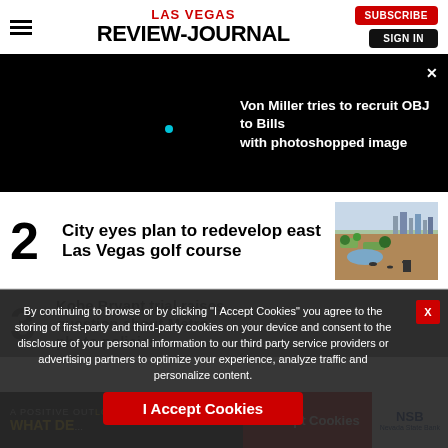LAS VEGAS REVIEW-JOURNAL
[Figure (screenshot): Dark video banner showing 'Von Miller tries to recruit OBJ to Bills with photoshopped image' with a small teal dot on black background]
Von Miller tries to recruit OBJ to Bills with photoshopped image
2 City eyes plan to redevelop east Las Vegas golf course
[Figure (photo): Aerial photo of an east Las Vegas golf course showing dry dirt, sparse trees, and city skyline in background]
By continuing to browse or by clicking “I Accept Cookies” you agree to the storing of first-party and third-party cookies on your device and consent to the disclosure of your personal information to our third party service providers or advertising partners to optimize your experience, analyze traffic and personalize content.
3 Kobe Bryant trial raises question about Metro photo policies
[Figure (screenshot): Advertisement banner: A Positive Outlook / What De... with NSB Nevada State Bank logo]